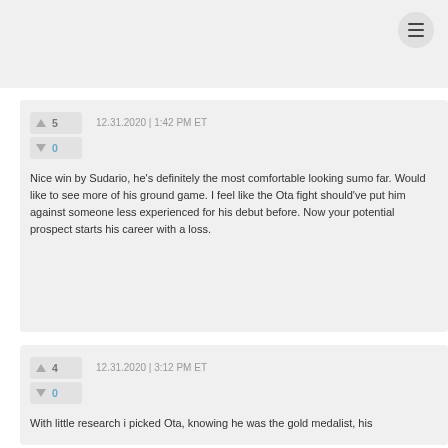≡
12.31.2020 | 1:42 PM ET
Nice win by Sudario, he's definitely the most comfortable looking sumo far. Would like to see more of his ground game. I feel like the Ota fight should've put him against someone less experienced for his debut before. Now your potential prospect starts his career with a loss.
12.31.2020 | 3:12 PM ET
With little research i picked Ota, knowing he was the gold medalist, his